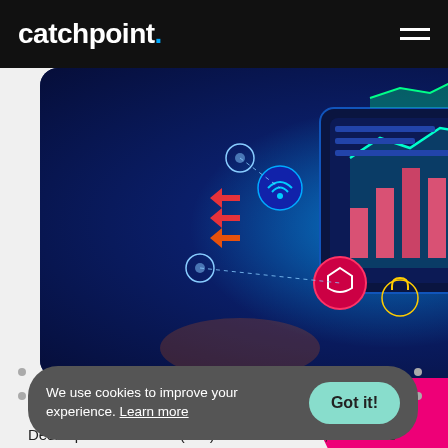catchpoint.
[Figure (photo): Technology and network monitoring illustration with digital dashboard, world map with glowing connections, data charts, and cybersecurity icons on a dark blue background.]
We use cookies to improve your experience. Learn more
Got it!
Desktop Infrastructure (VDI) environments is, "We have